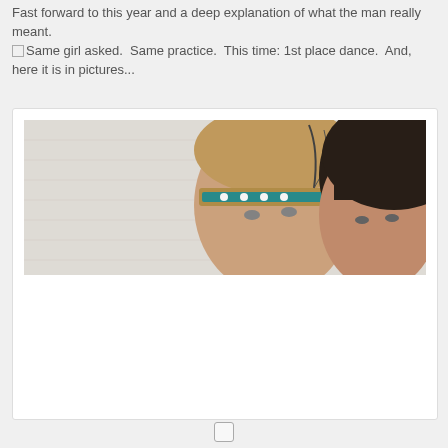Fast forward to this year and a deep explanation of what the man really meant.
□Same girl asked.  Same practice.  This time: 1st place dance.  And, here it is in pictures...
[Figure (photo): Two children or young people posing together against a white brick wall. The person on the left wears a tan/brown headband with a teal/green decorative band and a feather. The person on the right has dark hair and is leaning close. Photo is cropped to show only the upper portion of their heads.]